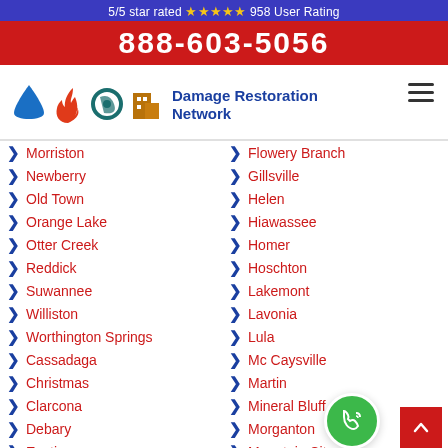5/5 star rated ⭐⭐⭐⭐⭐ 958 User Rating
888-603-5056
[Figure (logo): Damage Restoration Network logo with water drop, fire, hurricane, and building icons]
Morriston
Flowery Branch
Newberry
Gillsville
Old Town
Helen
Orange Lake
Hiawassee
Otter Creek
Homer
Reddick
Hoschton
Suwannee
Lakemont
Williston
Lavonia
Worthington Springs
Lula
Cassadaga
Mc Caysville
Christmas
Martin
Clarcona
Mineral Bluff
Debary
Morganton
Eustis
Mountain City